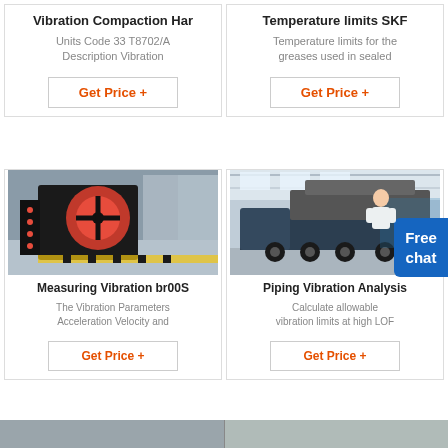Vibration Compaction Har
Units Code 33 T8702/A Description Vibration
Get Price +
Temperature limits SKF
Temperature limits for the greases used in sealed
Get Price +
[Figure (photo): Industrial vibration compaction machine with large red flywheel in warehouse]
Measuring Vibration br00S
The Vibration Parameters Acceleration Velocity and
Get Price +
[Figure (photo): Large industrial mobile crushing machine on truck in warehouse]
Piping Vibration Analysis
Calculate allowable vibration limits at high LOF
Get Price +